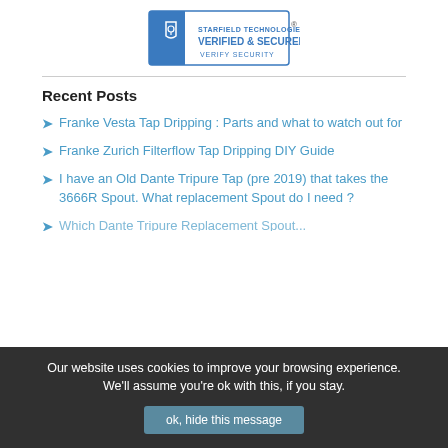[Figure (logo): Starfield Technologies Verified & Secured security badge with shield icon and padlock]
Recent Posts
Franke Vesta Tap Dripping : Parts and what to watch out for
Franke Zurich Filterflow Tap Dripping DIY Guide
I have an Old Dante Tripure Tap (pre 2019) that takes the 3666R Spout. What replacement Spout do I need ?
(partially visible item)
Our website uses cookies to improve your browsing experience. We'll assume you're ok with this, if you stay.
ok, hide this message